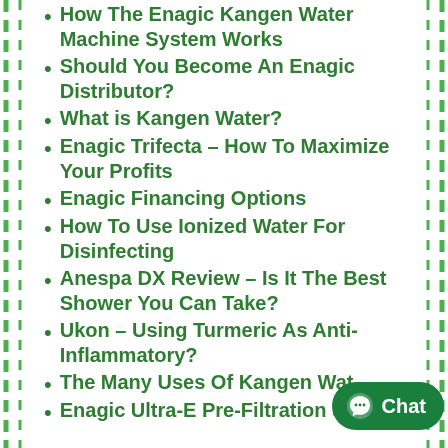How The Enagic Kangen Water Machine System Works
Should You Become An Enagic Distributor?
What is Kangen Water?
Enagic Trifecta – How To Maximize Your Profits
Enagic Financing Options
How To Use Ionized Water For Disinfecting
Anespa DX Review – Is It The Best Shower You Can Take?
Ukon – Using Turmeric As Anti-Inflammatory?
The Many Uses Of Kangen Water
Enagic Ultra-E Pre-Filtration System